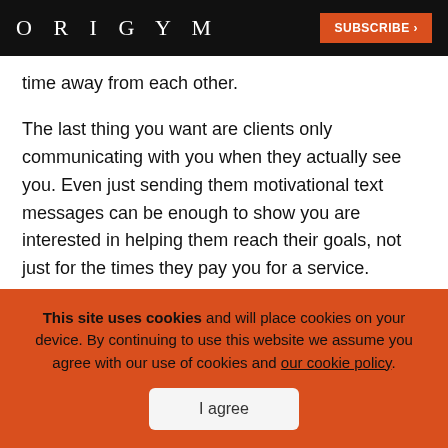ORIGYM | SUBSCRIBE >
time away from each other.
The last thing you want are clients only communicating with you when they actually see you. Even just sending them motivational text messages can be enough to show you are interested in helping them reach their goals, not just for the times they pay you for a service.
If you’re looking for some messages to send your
This site uses cookies and will place cookies on your device. By continuing to use this website we assume you agree with our use of cookies and our cookie policy.
I agree